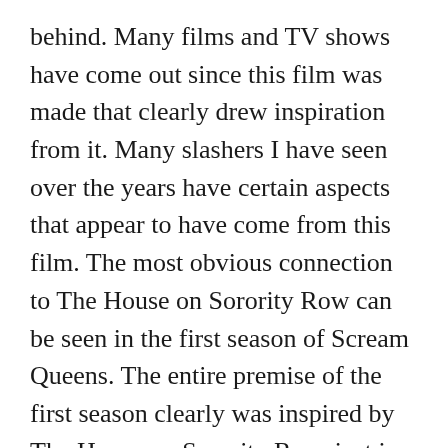behind. Many films and TV shows have come out since this film was made that clearly drew inspiration from it. Many slashers I have seen over the years have certain aspects that appear to have come from this film. The most obvious connection to The House on Sorority Row can be seen in the first season of Scream Queens. The entire premise of the first season clearly was inspired by The House on Sorority Row, just in a more satirical form. It's amazing to think that this film paved the way for so many other great slasher flicks.

The acting in this film was surprisingly good